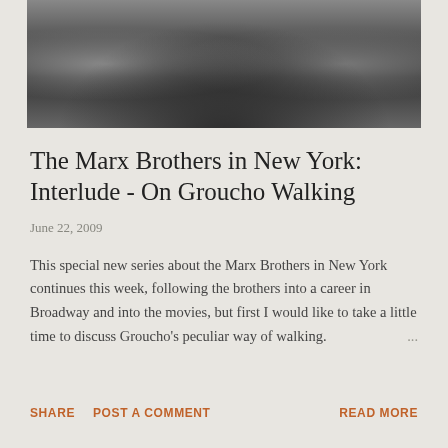[Figure (photo): Black and white photograph showing figures outdoors, partial view cropped at top]
The Marx Brothers in New York: Interlude - On Groucho Walking
June 22, 2009
This special new series about the Marx Brothers in New York continues this week, following the brothers into a career in Broadway and into the movies, but first I would like to take a little time to discuss Groucho's peculiar way of walking. ...
SHARE   POST A COMMENT   READ MORE